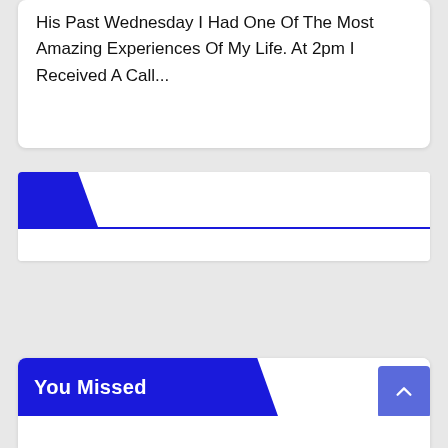His Past Wednesday I Had One Of The Most Amazing Experiences Of My Life. At 2pm I Received A Call...
[Figure (other): Blue section header bar with blue triangle/chevron shape on left side and a blue horizontal rule divider below, with empty white content area beneath]
[Figure (other): Bottom card with 'You Missed' label in bold white text on blue background with angled right edge, and a blue/purple scroll-to-top button on the right]